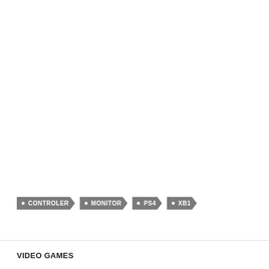CONTROLER  MONITOR  PS4  XB1
VIDEO GAMES